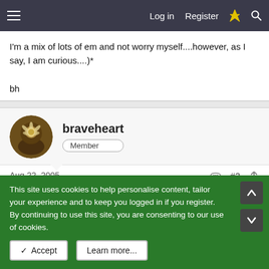Log in  Register
I'm a mix of lots of em and not worry myself....however, as I say, I am curious....)*

bh
braveheart
Member
Aug 22, 2005  #2
I have been officially dx as suffering from depression, with
This site uses cookies to help personalise content, tailor your experience and to keep you logged in if you register.
By continuing to use this site, you are consenting to our use of cookies.